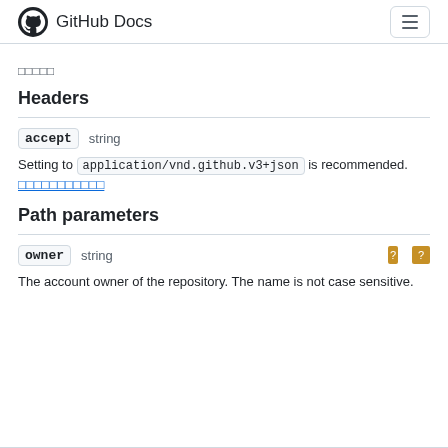GitHub Docs
□□□□□
Headers
accept   string
Setting to application/vnd.github.v3+json is recommended.
□□□□□□□□□□□
Path parameters
owner   string
The account owner of the repository. The name is not case sensitive.